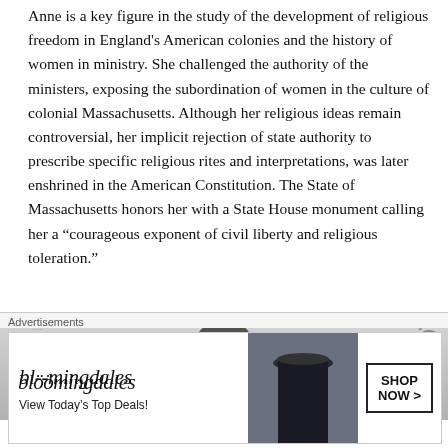Anne is a key figure in the study of the development of religious freedom in England's American colonies and the history of women in ministry. She challenged the authority of the ministers, exposing the subordination of women in the culture of colonial Massachusetts. Although her religious ideas remain controversial, her implicit rejection of state authority to prescribe specific religious rites and interpretations, was later enshrined in the American Constitution. The State of Massachusetts honors her with a State House monument calling her a “courageous exponent of civil liberty and religious toleration.”
[Figure (photo): Partial view of a dark statue (likely Anne Hutchinson statue), with navigation bar overlay]
Advertisements
[Figure (photo): Bloomingdale's advertisement banner: 'View Today's Top Deals!' with SHOP NOW button and photo of woman in hat]